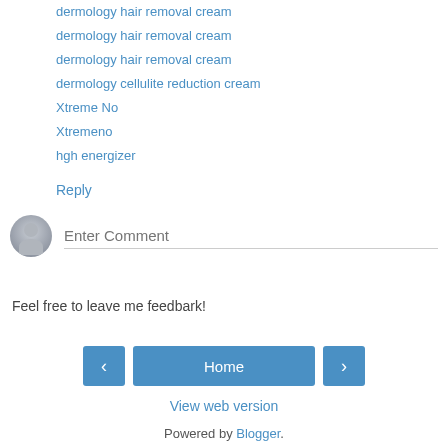dermology hair removal cream
dermology hair removal cream
dermology hair removal cream
dermology cellulite reduction cream
Xtreme No
Xtremeno
hgh energizer
Reply
Enter Comment
Feel free to leave me feedbark!
Home
View web version
Powered by Blogger.